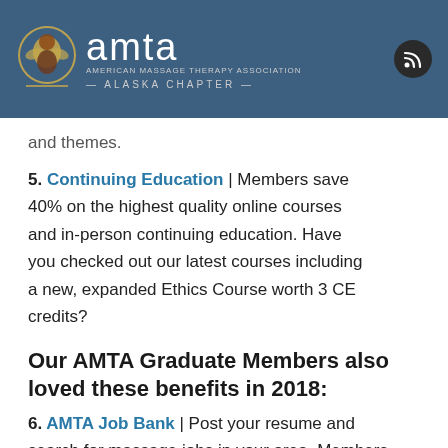[Figure (logo): AMTA Alaska Chapter logo with eagle/bear emblem and text 'amta american massage therapy association ALASKA CHAPTER']
and themes.
5. Continuing Education | Members save 40% on the highest quality online courses and in-person continuing education. Have you checked out our latest courses including a new, expanded Ethics Course worth 3 CE credits?
Our AMTA Graduate Members also loved these benefits in 2018:
6. AMTA Job Bank | Post your resume and search for massage jobs in your area. Members created their